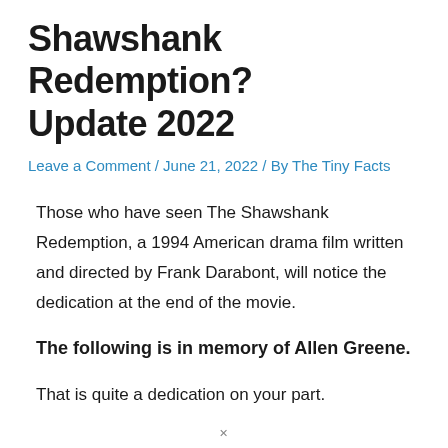Shawshank Redemption? Update 2022
Leave a Comment / June 21, 2022 / By The Tiny Facts
Those who have seen The Shawshank Redemption, a 1994 American drama film written and directed by Frank Darabont, will notice the dedication at the end of the movie.
The following is in memory of Allen Greene.
That is quite a dedication on your part.